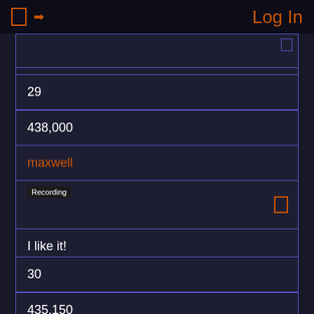Log In
planting seed
29
438,000
maxwell
Recording
I like it!
30
435,150